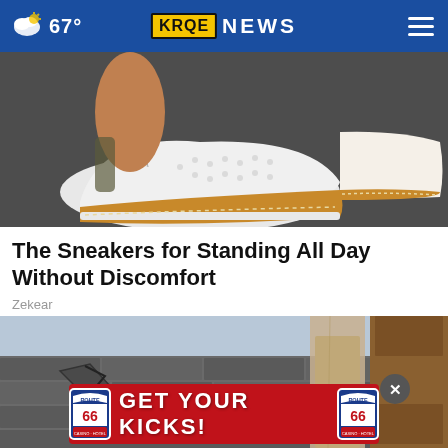67° KRQE NEWS
[Figure (photo): Close-up photo of white sneakers with perforated leather upper and tan/brown rubber soles, worn by a person standing on dark pavement]
The Sneakers for Standing All Day Without Discomfort
Zekear
[Figure (photo): Close-up photo of damaged/cracked roofing shingles with a person's legs visible in the background]
[Figure (infographic): Route 66 Casino Hotel advertisement banner reading GET YOUR KICKS! with Route 66 shield logos on each side]